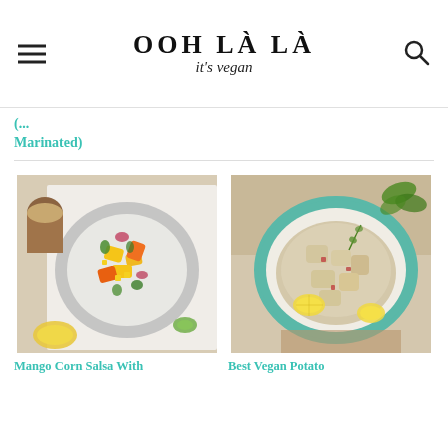OOH LÀ LÀ it's vegan
(…) Marinated)
[Figure (photo): Overhead photo of a mango corn salsa in a light gray bowl on a wooden cutting board, surrounded by ingredients]
Mango Corn Salsa With
[Figure (photo): Overhead photo of vegan potato salad in a teal ceramic bowl with lemon slices and dill, on a wooden board]
Best Vegan Potato